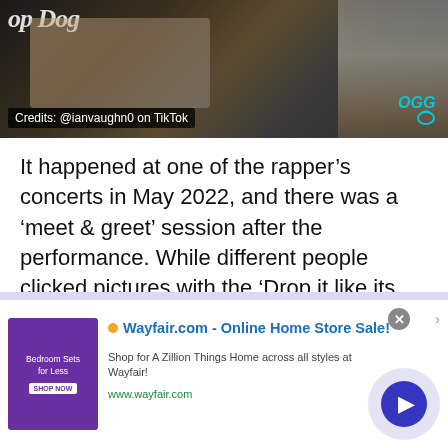[Figure (photo): Photo from a concert meet & greet event with Snoop Dogg, showing people posing. Text overlay reads 'Credits: @ianvaughn0 on TikTok'. Snoop Dogg branding and OGG logo visible in background.]
It happened at one of the rapper’s concerts in May 2022, and there was a ‘meet & greet’ session after the performance. While different people clicked pictures with the ‘Drop it like its hot’ star, a couple took it as the perfect opportunity to get engaged by grabbing the attention of thousands.
TikTok user @ianvaughn0 posted a video on his account with the description
[Figure (screenshot): Advertisement banner for Wayfair.com - Online Home Store Sale! Shows product image of bedroom furniture, Wayfair logo, tagline 'Shop for A Zillion Things Home across all styles at Wayfair!', URL www.wayfair.com, and a play button.]